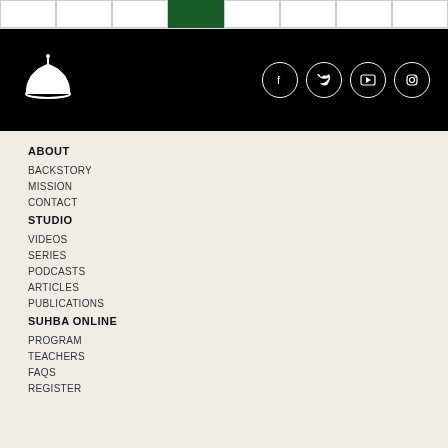[Figure (other): Navigation tab bar with multiple tabs, one active (green/dark)]
[Figure (other): Black header bar with dome/mosque logo on left and social media icons (Facebook, Twitter, YouTube, Instagram) on right]
ABOUT
BACKSTORY
MISSION
CONTACT
STUDIO
VIDEOS
SERIES
PODCASTS
ARTICLES
PUBLICATIONS
SUHBA ONLINE
PROGRAM
TEACHERS
FAQS
REGISTER